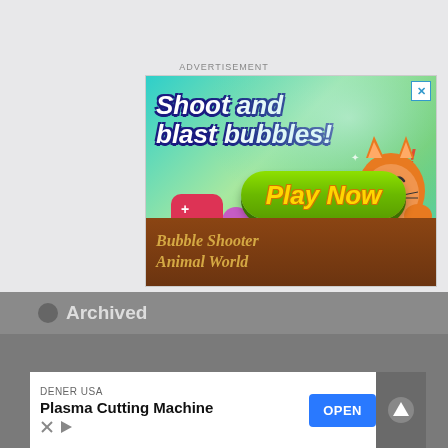ADVERTISEMENT
[Figure (illustration): Mobile game advertisement for 'Bubble Shooter Animal World'. Colorful game banner with teal/green background, bold white italic text 'Shoot and blast bubbles!', a green rounded 'Play Now' button with yellow text, red exclamation marks, game character animals including an angry cat and penguin, colorful bubbles, and a dark brown footer with gold italic text 'Bubble Shooter Animal World'.]
[Figure (screenshot): Bottom portion of a browser/app interface showing a grey archived bar with close X button and partially visible 'Archived' text, and below it a white bottom ad banner for 'DENER USA - Plasma Cutting Machine' with a blue OPEN button and grey upload arrow button on the right.]